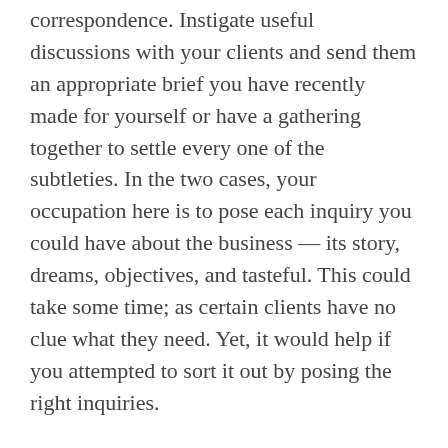correspondence. Instigate useful discussions with your clients and send them an appropriate brief you have recently made for yourself or have a gathering together to settle every one of the subtleties. In the two cases, your occupation here is to pose each inquiry you could have about the business — its story, dreams, objectives, and tasteful. This could take some time; as certain clients have no clue what they need. Yet, it would help if you attempted to sort it out by posing the right inquiries.
Assuming you did this accurately and focused on what the client was referring to, you presently ought to have the option to make an extensive rundown of